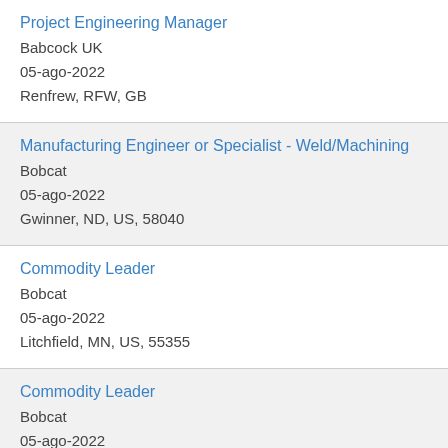Project Engineering Manager
Babcock UK
05-ago-2022
Renfrew, RFW, GB
Manufacturing Engineer or Specialist - Weld/Machining
Bobcat
05-ago-2022
Gwinner, ND, US, 58040
Commodity Leader
Bobcat
05-ago-2022
Litchfield, MN, US, 55355
Commodity Leader
Bobcat
05-ago-2022
Statesville, NC, US, 28625